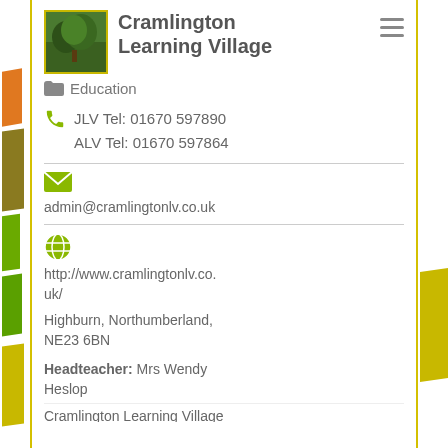Cramlington Learning Village
Education
JLV Tel: 01670 597890
ALV Tel: 01670 597864
admin@cramlingtonlv.co.uk
http://www.cramlingtonlv.co.uk/
Highburn, Northumberland, NE23 6BN
Headteacher: Mrs Wendy Heslop